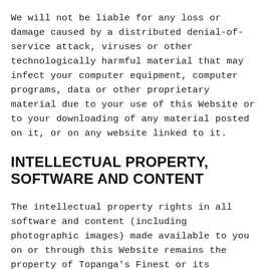We will not be liable for any loss or damage caused by a distributed denial-of-service attack, viruses or other technologically harmful material that may infect your computer equipment, computer programs, data or other proprietary material due to your use of this Website or to your downloading of any material posted on it, or on any website linked to it.
INTELLECTUAL PROPERTY, SOFTWARE AND CONTENT
The intellectual property rights in all software and content (including photographic images) made available to you on or through this Website remains the property of Topanga's Finest or its licensors and are protected by copyright laws and treaties around the world. All such rights are reserved